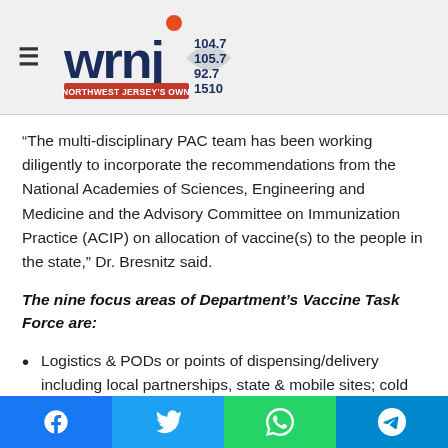WRNJ Radio — Northwest Jersey's Own — 104.7 105.7 92.7 1510
“The multi-disciplinary PAC team has been working diligently to incorporate the recommendations from the National Academies of Sciences, Engineering and Medicine and the Advisory Committee on Immunization Practice (ACIP) on allocation of vaccine(s) to the people in the state,” Dr. Bresnitz said.
The nine focus areas of Department’s Vaccine Task Force are:
Logistics & PODs or points of dispensing/delivery including local partnerships, state & mobile sites; cold